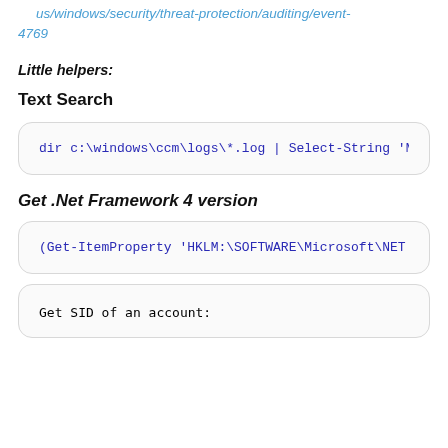us/windows/security/threat-protection/auditing/event-4769
Little helpers:
Text Search
dir c:\windows\ccm\logs\*.log | Select-String 'M
Get .Net Framework 4 version
(Get-ItemProperty 'HKLM:\SOFTWARE\Microsoft\NET
Get SID of an account: